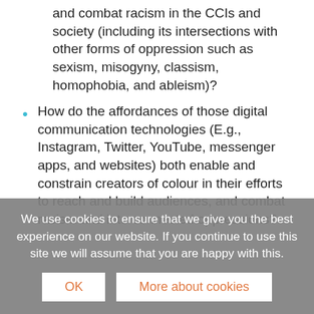and combat racism in the CCIs and society (including its intersections with other forms of oppression such as sexism, misogyny, classism, homophobia, and ableism)?
How do the affordances of those digital communication technologies (E.g., Instagram, Twitter, YouTube, messenger apps, and websites) both enable and constrain creators of colour in their efforts to reach and build audiences, and combat racism and interconnected oppressions?
We use cookies to ensure that we give you the best experience on our website. If you continue to use this site we will assume that you are happy with this.